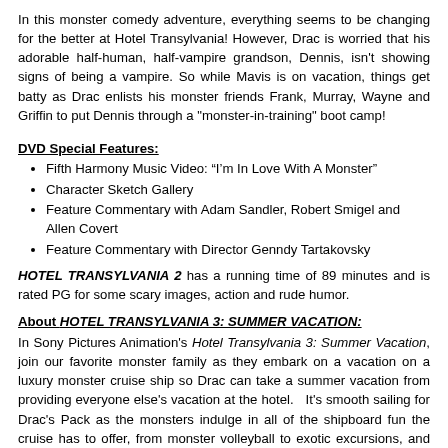In this monster comedy adventure, everything seems to be changing for the better at Hotel Transylvania! However, Drac is worried that his adorable half-human, half-vampire grandson, Dennis, isn't showing signs of being a vampire. So while Mavis is on vacation, things get batty as Drac enlists his monster friends Frank, Murray, Wayne and Griffin to put Dennis through a "monster-in-training" boot camp!
DVD Special Features:
Fifth Harmony Music Video: “I’m In Love With A Monster”
Character Sketch Gallery
Feature Commentary with Adam Sandler, Robert Smigel and Allen Covert
Feature Commentary with Director Genndy Tartakovsky
HOTEL TRANSYLVANIA 2 has a running time of 89 minutes and is rated PG for some scary images, action and rude humor.
About HOTEL TRANSYLVANIA 3: SUMMER VACATION:
In Sony Pictures Animation's Hotel Transylvania 3: Summer Vacation, join our favorite monster family as they embark on a vacation on a luxury monster cruise ship so Drac can take a summer vacation from providing everyone else's vacation at the hotel.   It's smooth sailing for Drac's Pack as the monsters indulge in all of the shipboard fun the cruise has to offer, from monster volleyball to exotic excursions, and catching up on their moon tans.  But the dream vacation takes a dangerous turn when Mavis realizes Drac has fallen for the human captain of the ship, Ericka, who holds a mysterious secret that threatens them all.